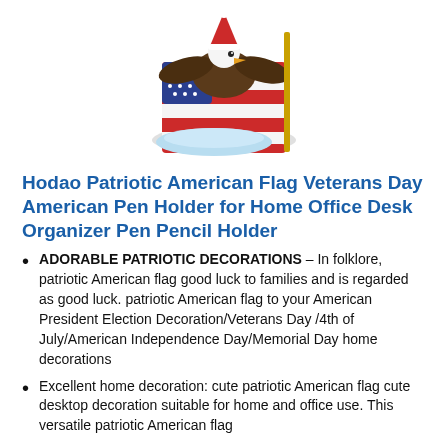[Figure (photo): Patriotic American flag eagle pen holder figurine — ceramic decorative item with a bald eagle on red-and-white striped flag with blue base]
Hodao Patriotic American Flag Veterans Day American Pen Holder for Home Office Desk Organizer Pen Pencil Holder
ADORABLE PATRIOTIC DECORATIONS – In folklore, patriotic American flag good luck to families and is regarded as good luck. patriotic American flag to your American President Election Decoration/Veterans Day /4th of July/American Independence Day/Memorial Day home decorations
Excellent home decoration: cute patriotic American flag cute desktop decoration suitable for home and office use. This versatile patriotic American flag